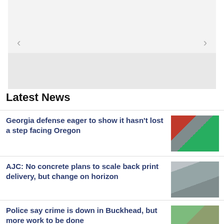[Figure (other): Carousel slider placeholder with light gray background and navigation arrows]
Latest News
Georgia defense eager to show it hasn't lost a step facing Oregon
[Figure (photo): Football players on field during Georgia game]
AJC: No concrete plans to scale back print delivery, but change on horizon
[Figure (photo): Rolled newspapers stacked together]
Police say crime is down in Buckhead, but more work to be done
[Figure (photo): Lenox Square sign outside mall in Buckhead]